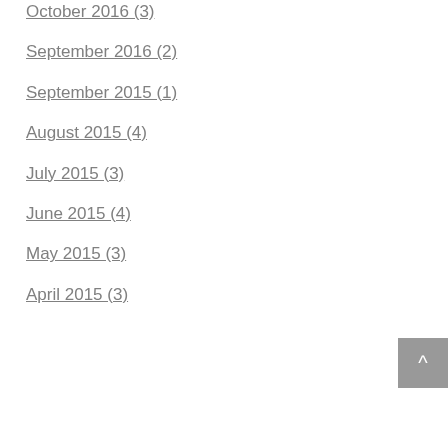October 2016 (3)
September 2016 (2)
September 2015 (1)
August 2015 (4)
July 2015 (3)
June 2015 (4)
May 2015 (3)
April 2015 (3)